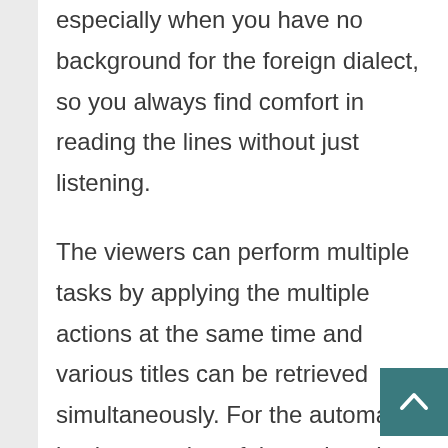especially when you have no background for the foreign dialect, so you always find comfort in reading the lines without just listening.
The viewers can perform multiple tasks by applying the multiple actions at the same time and various titles can be retrieved simultaneously. For the automatic implementation of the action, the forum watches a folder on the particular computer by defining new files, and the procedure is initiated when a new film is uploaded or released. The forum is integrated with the default domain, such as OPENSUBTITLES.ORG that helps